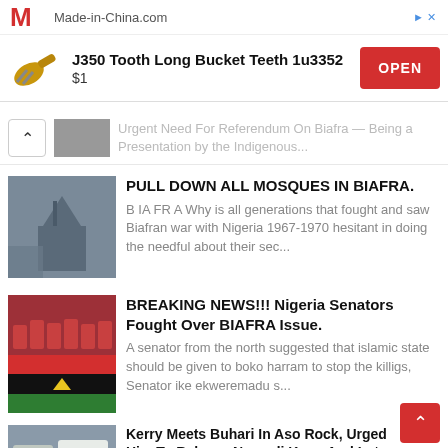[Figure (screenshot): Made-in-China.com advertisement banner with red M logo, product title 'J350 Tooth Long Bucket Teeth 1u3352', price '$1', and red OPEN button]
Urgent Need For Referendum On Biafra — Being a Presentation by the Indigenous...
PULL DOWN ALL MOSQUES IN BIAFRA.
B IA FR A Why is all generations that fought and saw Biafran war with Nigeria 1967-1970 hesitant in doing the needful about their sec...
BREAKING NEWS!!! Nigeria Senators Fought Over BIAFRA Issue.
A senator from the north suggested that islamic state should be given to boko harram to stop the killigs, Senator ike ekweremadu s...
Kerry Meets Buhari In Aso Rock, Urged Him To Release Nnamdi Kanu And Let Biafrans Go
The US secretary of state John Kerry visited Nigeria amid heavy economic and political cris his visit proves problematic for Buhari in...